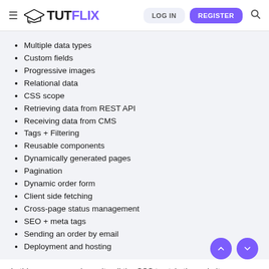TUTFLIX — LOG IN | REGISTER
Multiple data types
Custom fields
Progressive images
Relational data
CSS scope
Retrieving data from REST API
Receiving data from CMS
Tags + Filtering
Reusable components
Dynamically generated pages
Pagination
Dynamic order form
Client side fetching
Cross-page status management
SEO + meta tags
Sending an order by email
Deployment and hosting
In this course, we also write all the CSS to style the website.